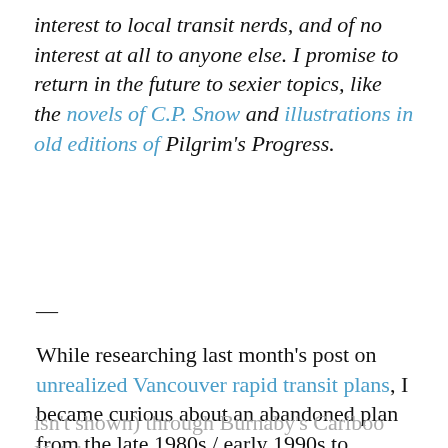interest to local transit nerds, and of no interest at all to anyone else. I promise to return in the future to sexier topics, like the novels of C.P. Snow and illustrations in old editions of Pilgrim's Progress.
—
While researching last month's post on unrealized Vancouver rapid transit plans, I became curious about an abandoned plan from the late 1980s / early 1990s to extend the SkyTrain to Burnaby's Lougheed Mall – not
Privacy & Cookies: This site uses cookies. By continuing to use this website, you agree to their use.
To find out more, including how to control cookies, see here: Cookie Policy
Close and accept
isn't shown) through Burnaby's Cariboo Heights